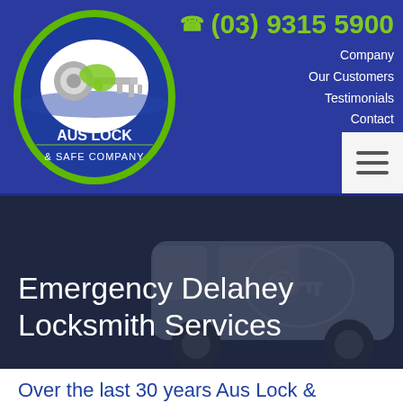[Figure (logo): Aus Lock & Safe Company logo - oval shape with green border, key and Australia map inside, text 'AUS LOCK & SAFE COMPANY']
(03) 9315 5900
Company
Our Customers
Testimonials
Contact
[Figure (illustration): Faded van illustration with key/lock logo on side, used as hero background]
Emergency Delahey Locksmith Services
Over the last 30 years Aus Lock & Safe have built a reputation as one